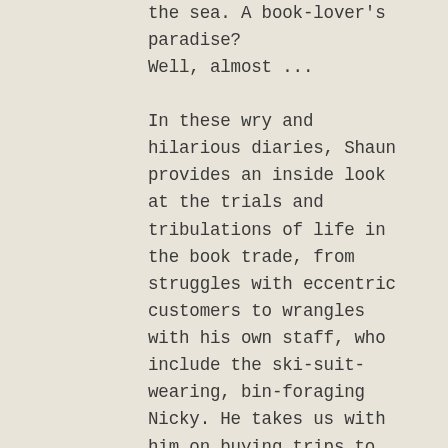the sea. A book-lover's paradise? Well, almost ...
In these wry and hilarious diaries, Shaun provides an inside look at the trials and tribulations of life in the book trade, from struggles with eccentric customers to wrangles with his own staff, who include the ski-suit-wearing, bin-foraging Nicky. He takes us with him on buying trips to old estates and auction houses, recommends books (both lost classics and new discoveries), introduces us to the thrill of the unexpected find, and evokes the rhythms and charms of small-town life, always with a sharp and sympathetic eye.